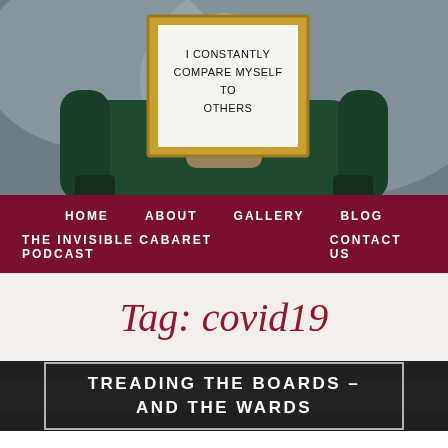[Figure (photo): Person sitting on a dark green velvet chair, holding a gold-framed white board/sign that reads 'I constantly compare myself to others'. The background is a muted grey-blue. The image is cropped to show mainly the chair and sign.]
HOME   ABOUT   GALLERY   BLOG   THE INVISIBLE CABARET PODCAST   CONTACT US
Tag: covid19
TREADING THE BOARDS – AND THE WARDS